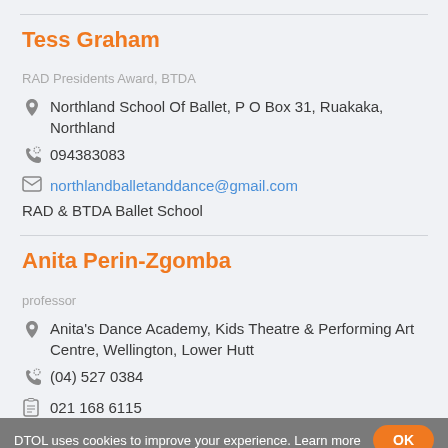Tess Graham
RAD Presidents Award, BTDA
Northland School Of Ballet, P O Box 31, Ruakaka, Northland
094383083
northlandballetanddance@gmail.com
RAD & BTDA Ballet School
Anita Perin-Zgomba
professor
Anita's Dance Academy, Kids Theatre & Performing Art Centre, Wellington, Lower Hutt
(04) 527 0384
021 168 6115
an.zgomba@gmail.com
DTOL uses cookies to improve your experience. Learn more